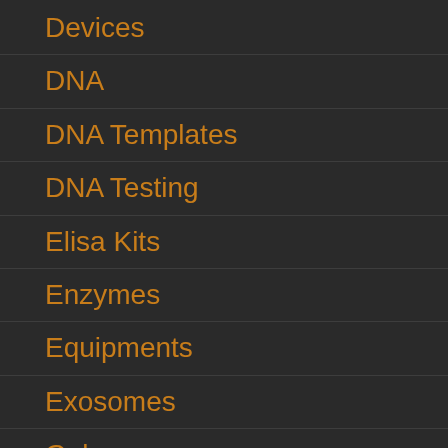Devices
DNA
DNA Templates
DNA Testing
Elisa Kits
Enzymes
Equipments
Exosomes
Gels
Isotopes